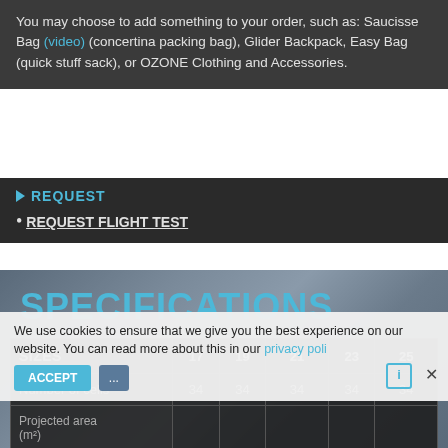You may choose to add something to your order, such as: Saucisse Bag (video) (concertina packing bag), Glider Backpack, Easy Bag (quick stuff sack), or OZONE Clothing and Accessories.
REQUEST
REQUEST FLIGHT TEST
SPECIFICATIONS
| SIZES | 17 | 19 | 21 | 23 | 25 |
| --- | --- | --- | --- | --- | --- |
| Number of cells | 34 | 34 | 34 | 34 | 34 |
| Projected area (m²) | ... | ... | ... | ... | ... |
| Flat Area (m^2) | 17 | 19 | 20.9 | 23 | 25.2 |
We use cookies to ensure that we give you the best experience on our website. You can read more about this in our privacy poli...